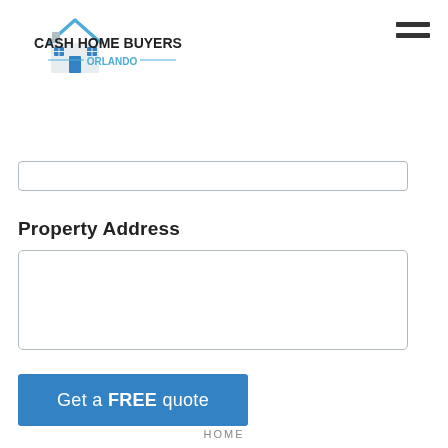[Figure (logo): Cash Home Buyers Orlando logo with house icon]
Property Address
Get a FREE quote
HOME